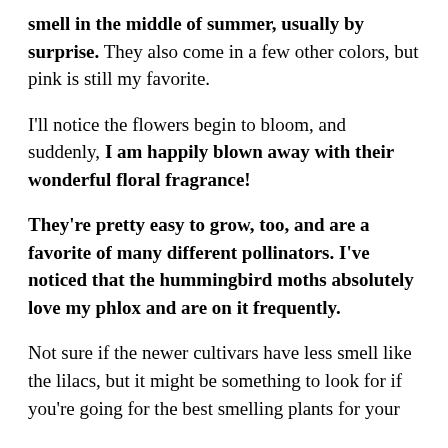smell in the middle of summer, usually by surprise. They also come in a few other colors, but pink is still my favorite.
I'll notice the flowers begin to bloom, and suddenly, I am happily blown away with their wonderful floral fragrance!
They're pretty easy to grow, too, and are a favorite of many different pollinators. I've noticed that the hummingbird moths absolutely love my phlox and are on it frequently.
Not sure if the newer cultivars have less smell like the lilacs, but it might be something to look for if you're going for the best smelling plants for your